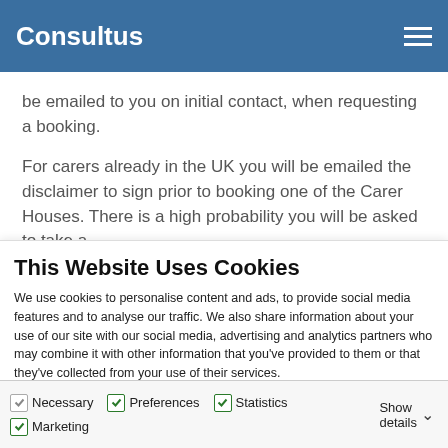Consultus
be emailed to you on initial contact, when requesting a booking.
For carers already in the UK you will be emailed the disclaimer to sign prior to booking one of the Carer Houses. There is a high probability you will be asked to take a
This Website Uses Cookies
We use cookies to personalise content and ads, to provide social media features and to analyse our traffic. We also share information about your use of our site with our social media, advertising and analytics partners who may combine it with other information that you've provided to them or that they've collected from your use of their services.
Allow all cookies
Allow selection
Use necessary cookies only
Necessary  Preferences  Statistics  Marketing  Show details